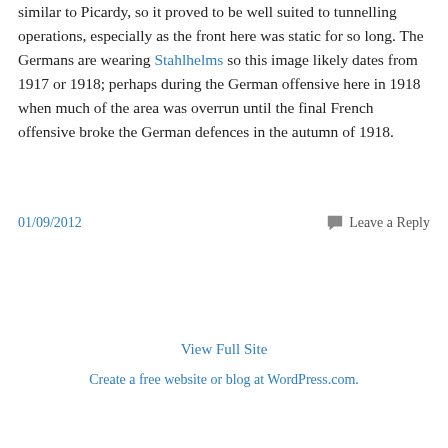similar to Picardy, so it proved to be well suited to tunnelling operations, especially as the front here was static for so long. The Germans are wearing Stahlhelms so this image likely dates from 1917 or 1918; perhaps during the German offensive here in 1918 when much of the area was overrun until the final French offensive broke the German defences in the autumn of 1918.
01/09/2012   Leave a Reply
View Full Site
Create a free website or blog at WordPress.com.